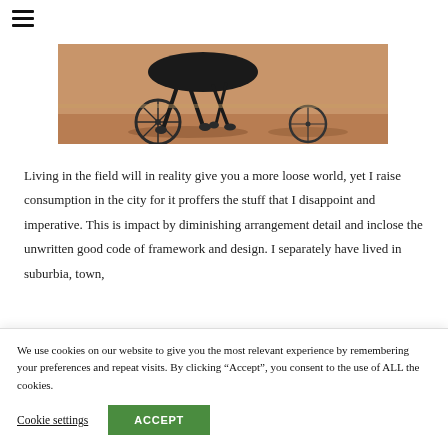[Figure (photo): Close-up photo of a harness racing horse with sulky wheels on a dirt track, showing legs and wheels in motion]
Living in the field will in reality give you a more loose world, yet I raise consumption in the city for it proffers the stuff that I disappoint and imperative. This is impact by diminishing arrangement detail and inclose the unwritten good code of framework and design. I separately have lived in suburbia, town,
We use cookies on our website to give you the most relevant experience by remembering your preferences and repeat visits. By clicking “Accept”, you consent to the use of ALL the cookies.
Cookie settings
ACCEPT